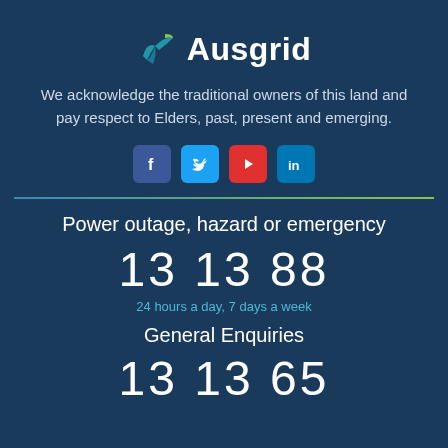[Figure (logo): Ausgrid logo with stylized bird/tick mark in teal and green, followed by the text 'Ausgrid' in white bold font]
We acknowledge the traditional owners of this land and pay respect to Elders, past, present and emerging.
[Figure (infographic): Social media icons row: Facebook (blue), Twitter (light blue), YouTube (red), LinkedIn (blue)]
Power outage, hazard or emergency
13 13 88
24 hours a day, 7 days a week
General Enquiries
13 13 65